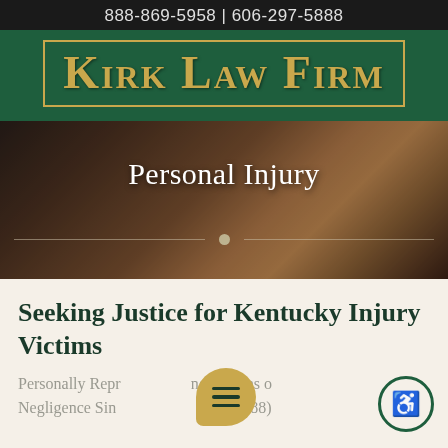888-869-5958 | 606-297-5888
[Figure (logo): Kirk Law Firm logo — gold text on dark green background with gold border]
[Figure (photo): Hero image with gavel/judge's hammer in dark background with text 'Personal Injury' and decorative divider]
Seeking Justice for Kentucky Injury Victims
Personally Representing Victims of Negligence Since... Call (888)